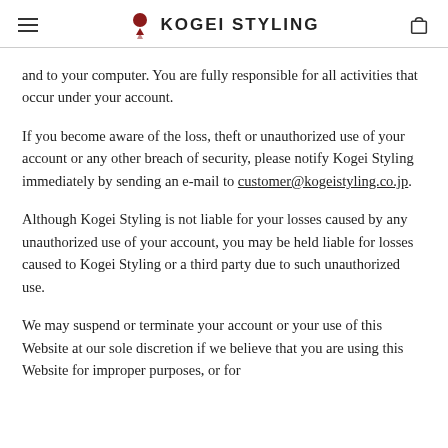KOGEI STYLING
and to your computer. You are fully responsible for all activities that occur under your account.
If you become aware of the loss, theft or unauthorized use of your account or any other breach of security, please notify Kogei Styling immediately by sending an e-mail to customer@kogeistyling.co.jp.
Although Kogei Styling is not liable for your losses caused by any unauthorized use of your account, you may be held liable for losses caused to Kogei Styling or a third party due to such unauthorized use.
We may suspend or terminate your account or your use of this Website at our sole discretion if we believe that you are using this Website for improper purposes, or for